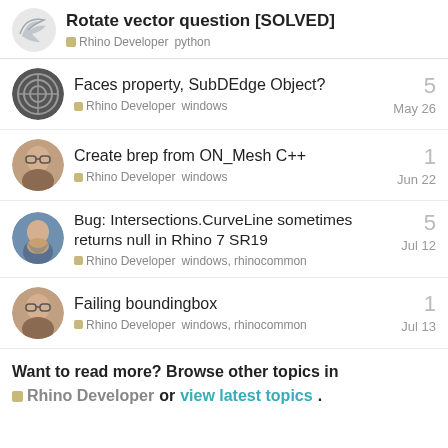Rotate vector question [SOLVED] — Rhino Developer  python
Faces property, SubDEdge Object? — Rhino Developer  windows — 5 — May 26
Create brep from ON_Mesh C++ — Rhino Developer  windows — 1 — Jun 22
Bug: Intersections.CurveLine sometimes returns null in Rhino 7 SR19 — Rhino Developer  windows, rhinocommon — 5 — Jul 12
Failing boundingbox — Rhino Developer  windows, rhinocommon — 1 — Jul 13
Want to read more? Browse other topics in Rhino Developer or view latest topics.